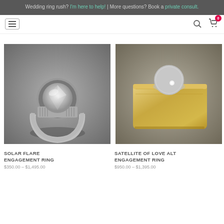Wedding ring rush? I'm here to help! | More questions? Book a private consult.
[Figure (photo): Silver engagement ring with large round brilliant diamond in bezel setting, photographed on grey background]
SOLAR FLARE ENGAGEMENT RING
$350.00 – $1,495.00
[Figure (photo): Wide gold band ring with a circular matte silver disc holding a small diamond, photographed on grey background]
SATELLITE OF LOVE ALT ENGAGEMENT RING
$950.00 – $1,395.00